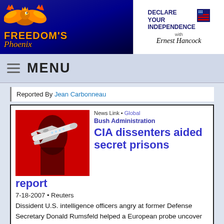[Figure (logo): Freedom's Phoenix website logo with phoenix bird on blue/dark background]
[Figure (logo): Declare Your Independence with Ernest Hancock logo/banner]
MENU
Reported By Jean Carbonneau
News Link • Global
Bush Administration
CIA dissenters aided secret prisons report
7-18-2007 • Reuters
Dissident U.S. intelligence officers angry at former Defense Secretary Donald Rumsfeld helped a European probe uncover details of kidnapping and secret CIA torture prisons in Europe, the top investigator said.